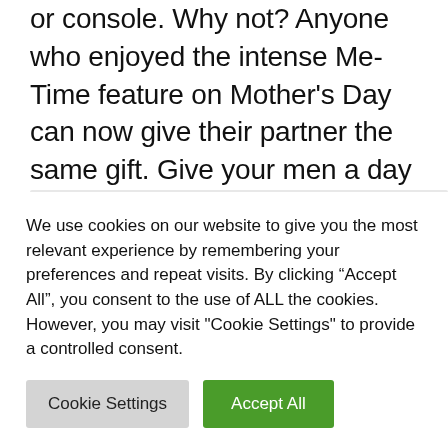or console. Why not? Anyone who enjoyed the intense Me-Time feature on Mother's Day can now give their partner the same gift. Give your men a day off from the kids. May it be given to parents, who always stand by our side with heart and patience in the chaotic everyday family life.
[Figure (photo): Partially visible image placeholder with light gray background]
We use cookies on our website to give you the most relevant experience by remembering your preferences and repeat visits. By clicking “Accept All”, you consent to the use of ALL the cookies. However, you may visit "Cookie Settings" to provide a controlled consent.